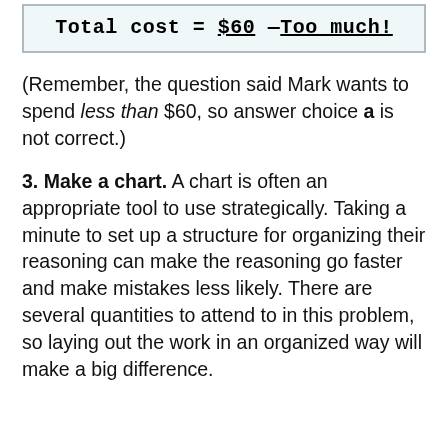(Remember, the question said Mark wants to spend less than $60, so answer choice a is not correct.)
3. Make a chart. A chart is often an appropriate tool to use strategically. Taking a minute to set up a structure for organizing their reasoning can make the reasoning go faster and make mistakes less likely. There are several quantities to attend to in this problem, so laying out the work in an organized way will make a big difference.